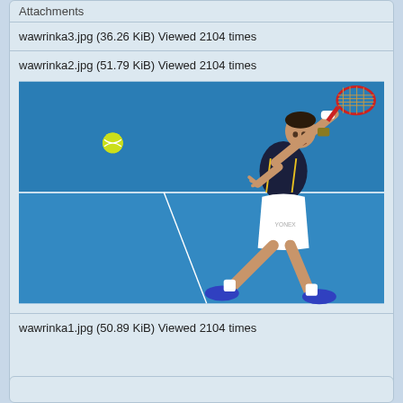Attachments
wawrinka3.jpg (36.26 KiB) Viewed 2104 times
wawrinka2.jpg (51.79 KiB) Viewed 2104 times
[Figure (photo): Tennis player hitting a forehand shot on a blue hard court, wearing dark top and white shorts, with a yellow tennis ball in the air to the left]
wawrinka1.jpg (50.89 KiB) Viewed 2104 times